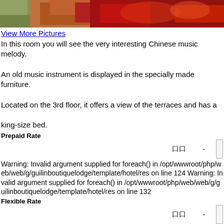[Figure (photo): Photo of a hotel room with red decorative textile/runner and traditional Chinese decor, partially visible at top of page]
View More Pictures
In this room you will see the very interesting Chinese music melody. An old music instrument is displayed in the specially made furniture. Located on the 3rd floor, it offers a view of the terraces and has a king-size bed.
Prepaid Rate
口口  -
Warning: Invalid argument supplied for foreach() in /opt/wwwroot/php/web/web/g/guilinboutiquelodge/template/hotel/res on line 124 Warning: Invalid argument supplied for foreach() in /opt/wwwroot/php/web/web/g/guilinboutiquelodge/template/hotel/res on line 132
Flexible Rate
口口  -
Warning: Invalid argument supplied for foreach() in /opt/wwwroot/php/web/web/g/guilinboutiquelodge/template/hotel/res on line 124 Warning: Invalid argument supplied for foreach() in /opt/wwwroot/php/web/web/g/guilinboutiquelodge/template/hotel/res